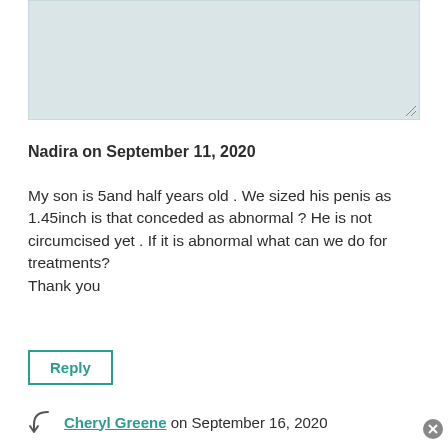[Figure (other): Light teal/gray textarea input box with resize handle in bottom-right corner]
Nadira on September 11, 2020
My son is 5and half years old . We sized his penis as 1.45inch is that conceded as abnormal ? He is not circumcised yet . If it is abnormal what can we do for treatments?
Thank you
Reply
Cheryl Greene  on September 16, 2020